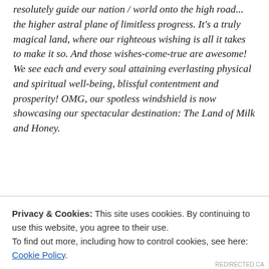resolutely guide our nation / world onto the high road... the higher astral plane of limitless progress. It's a truly magical land, where our righteous wishing is all it takes to make it so. And those wishes-come-true are awesome! We see each and every soul attaining everlasting physical and spiritual well-being, blissful contentment and prosperity! OMG, our spotless windshield is now showcasing our spectacular destination: The Land of Milk and Honey.
Oh NO... say it isn't so! Everything is starting to fade... crossfade into the inky darkness of an endless night. The drone of the gas guzzler's engine... the dual tailpipes
Privacy & Cookies: This site uses cookies. By continuing to use this website, you agree to their use.
To find out more, including how to control cookies, see here: Cookie Policy